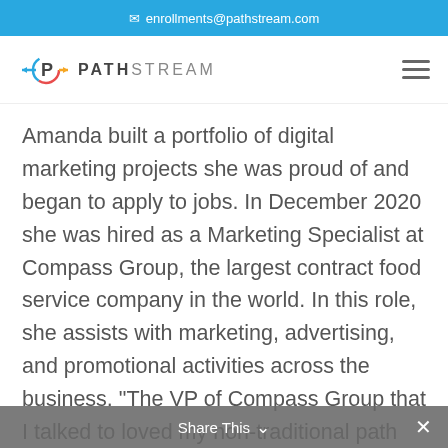enrollments@pathstream.com
[Figure (logo): Pathstream logo with stylized P icon and the wordmark PATHSTREAM]
Amanda built a portfolio of digital marketing projects she was proud of and began to apply to jobs. In December 2020 she was hired as a Marketing Specialist at Compass Group, the largest contract food service company in the world. In this role, she assists with marketing, advertising, and promotional activities across the business. “The VP of Compass Group that I talked to loved my non-traditional path and that I wasn’t a cookie-
Share This